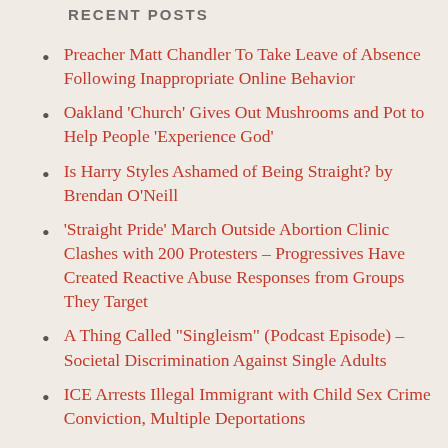RECENT POSTS
Preacher Matt Chandler To Take Leave of Absence Following Inappropriate Online Behavior
Oakland ‘Church’ Gives Out Mushrooms and Pot to Help People ‘Experience God’
Is Harry Styles Ashamed of Being Straight? by Brendan O’Neill
‘Straight Pride’ March Outside Abortion Clinic Clashes with 200 Protesters – Progressives Have Created Reactive Abuse Responses from Groups They Target
A Thing Called “Singleism” (Podcast Episode) – Societal Discrimination Against Single Adults
ICE Arrests Illegal Immigrant with Child Sex Crime Conviction, Multiple Deportations